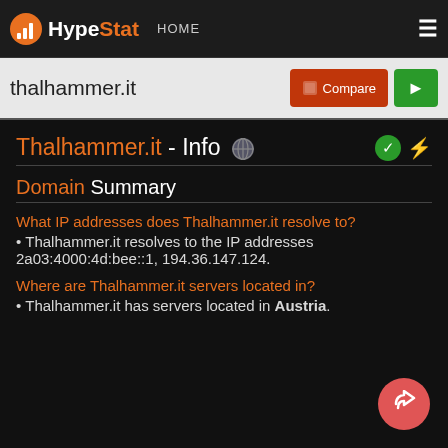HypeStat HOME ≡
thalhammer.it
Thalhammer.it - Info
Domain Summary
What IP addresses does Thalhammer.it resolve to?
Thalhammer.it resolves to the IP addresses 2a03:4000:4d:bee::1, 194.36.147.124.
Where are Thalhammer.it servers located in?
Thalhammer.it has servers located in Austria.